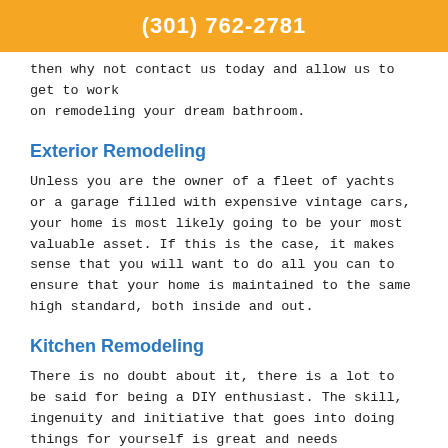(301) 762-2781
then why not contact us today and allow us to get to work on remodeling your dream bathroom.
Exterior Remodeling
Unless you are the owner of a fleet of yachts or a garage filled with expensive vintage cars, your home is most likely going to be your most valuable asset. If this is the case, it makes sense that you will want to do all you can to ensure that your home is maintained to the same high standard, both inside and out.
Kitchen Remodeling
There is no doubt about it, there is a lot to be said for being a DIY enthusiast. The skill, ingenuity and initiative that goes into doing things for yourself is great and needs